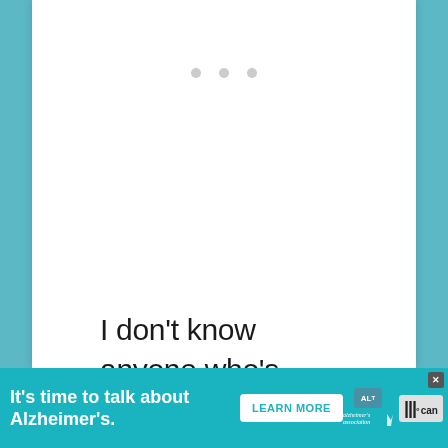[Figure (other): White card/panel with three gray dots near top suggesting a loading or navigation indicator]
I don't know anyone who's more passionate about the science of habit, which is why I'm extremely happy to
[Figure (other): Advertisement banner: It's time to talk about Alzheimer's. with LEARN MORE button, Alzheimer's Association logo, and media icon]